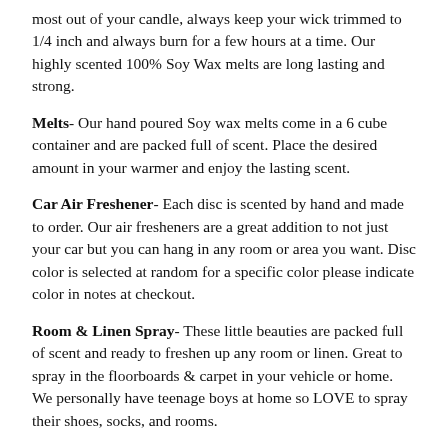most out of your candle, always keep your wick trimmed to 1/4 inch and always burn for a few hours at a time. Our highly scented 100% Soy Wax melts are long lasting and strong.
Melts- Our hand poured Soy wax melts come in a 6 cube container and are packed full of scent. Place the desired amount in your warmer and enjoy the lasting scent.
Car Air Freshener- Each disc is scented by hand and made to order. Our air fresheners are a great addition to not just your car but you can hang in any room or area you want. Disc color is selected at random for a specific color please indicate color in notes at checkout.
Room & Linen Spray- These little beauties are packed full of scent and ready to freshen up any room or linen. Great to spray in the floorboards & carpet in your vehicle or home. We personally have teenage boys at home so LOVE to spray their shoes, socks, and rooms.